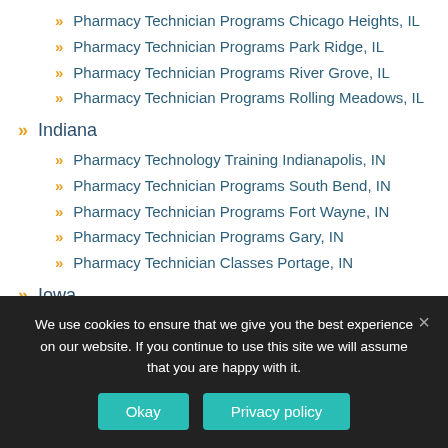Pharmacy Technician Programs Chicago Heights, IL
Pharmacy Technician Programs Park Ridge, IL
Pharmacy Technician Programs River Grove, IL
Pharmacy Technician Programs Rolling Meadows, IL
Indiana
Pharmacy Technology Training Indianapolis, IN
Pharmacy Technician Programs South Bend, IN
Pharmacy Technician Programs Fort Wayne, IN
Pharmacy Technician Programs Gary, IN
Pharmacy Technician Classes Portage, IN
Iowa
Pharmacy Technician Programs Waterloo, IA
Kansas
We use cookies to ensure that we give you the best experience on our website. If you continue to use this site we will assume that you are happy with it.